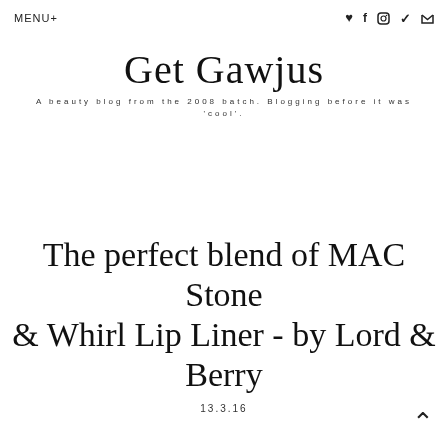MENU+ ♥ f Instagram Twitter
Get Gawjus
A beauty blog from the 2008 batch. Blogging before it was 'cool'.
The perfect blend of MAC Stone & Whirl Lip Liner - by Lord & Berry
13.3.16